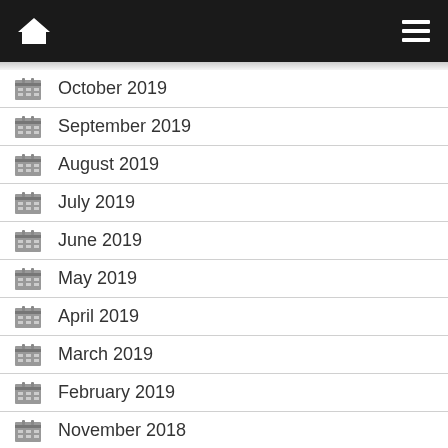Navigation bar with home icon and menu icon
October 2019
September 2019
August 2019
July 2019
June 2019
May 2019
April 2019
March 2019
February 2019
November 2018
August 2018